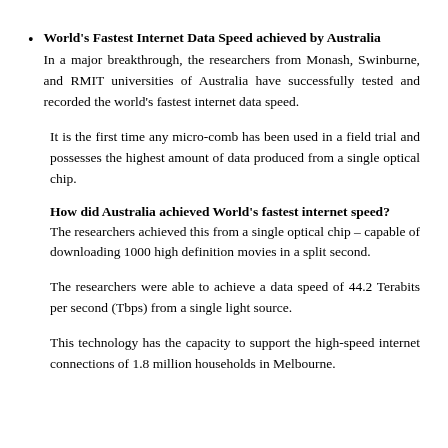World's Fastest Internet Data Speed achieved by Australia
In a major breakthrough, the researchers from Monash, Swinburne, and RMIT universities of Australia have successfully tested and recorded the world's fastest internet data speed.
It is the first time any micro-comb has been used in a field trial and possesses the highest amount of data produced from a single optical chip.
How did Australia achieved World's fastest internet speed?
The researchers achieved this from a single optical chip – capable of downloading 1000 high definition movies in a split second.
The researchers were able to achieve a data speed of 44.2 Terabits per second (Tbps) from a single light source.
This technology has the capacity to support the high-speed internet connections of 1.8 million households in Melbourne.